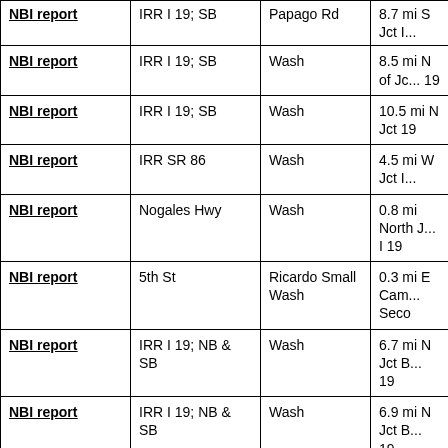|  | Route | Feature | Location |
| --- | --- | --- | --- |
| NBI report | IRR I 19; SB | Papago Rd | 8.7 mi S Jct I... |
| NBI report | IRR I 19; SB | Wash | 8.5 mi N of Jc... 19 |
| NBI report | IRR I 19; SB | Wash | 10.5 mi N Jct 19 |
| NBI report | IRR SR 86 | Wash | 4.5 mi W Jct I... |
| NBI report | Nogales Hwy | Wash | 0.8 mi North J... I 19 |
| NBI report | 5th St | Ricardo Small Wash | 0.3 mi E Cam... Seco |
| NBI report | IRR I 19; NB & SB | Wash | 6.7 mi N Jct B... 19 |
| NBI report | IRR I 19; NB & SB | Wash | 6.9 mi N Jct B... 19 |
| NBI report | IRR I 19; NB & SB | Wash | 7.4 mi N Jct B... 19 |
| NBI report | IRR I 19; NB & SB | Wash | 7.0 mi N Jct B... |